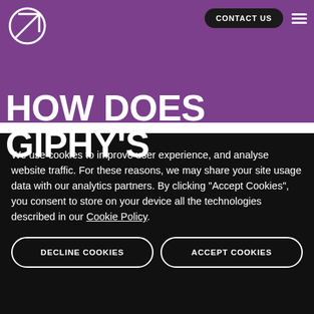[Figure (logo): White geometric logo with circle and diagonal line on purple background]
CONTACT US
HOW DOES GIPHY'S
We use cookies to improve user experience, and analyse website traffic. For these reasons, we may share your site usage data with our analytics partners. By clicking “Accept Cookies”, you consent to store on your device all the technologies described in our Cookie Policy.
DECLINE COOKIES
ACCEPT COOKIES